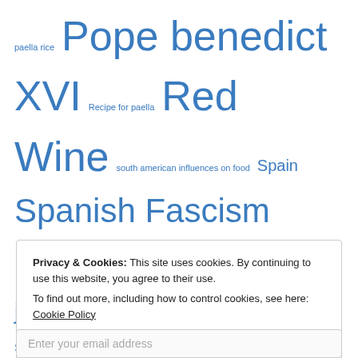paella rice Pope benedict XVI Recipe for paella Red Wine south american influences on food Spain Spanish Fascism Spanish food spanish judiciary Spanish language Spanish men spanish politics spanish red wine spanish strawberries Spanish tourism Spring in Andalucia Subjunctive Tapas The European banking Authority The holy father the Pope Velez-Malaga village hospitality working in Spain young Spanish men
Privacy & Cookies: This site uses cookies. By continuing to use this website, you agree to their use.
To find out more, including how to control cookies, see here: Cookie Policy
Close and accept
Enter your email address